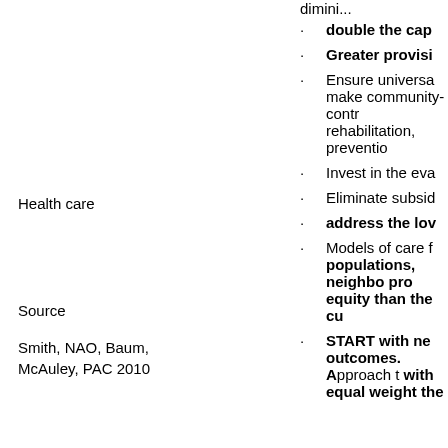double the cap
Greater provisi
Health care
Ensure universa make community-contr rehabilitation, preventio
Invest in the eva
Source
Eliminate subsid
Smith, NAO, Baum, McAuley, PAC 2010
address the lov
Models of care f populations, neighbo pro equity than the cu
START with ne outcomes. Approach t with equal weight the